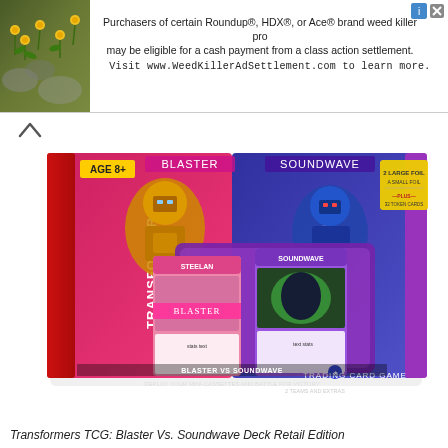[Figure (other): Advertisement banner with photo of yellow flowers on stone/ground on the left, and text about a class action settlement for Roundup, HDX, or Ace brand weed killer products on the right, with close and info buttons.]
[Figure (photo): Product photo of Transformers TCG: Blaster Vs. Soundwave Deck Retail Edition box. The box shows Transformers characters Blaster (pink/red side) and Soundwave (blue/purple side), with trading cards displayed in front including character cards for Blaster and Soundwave. Text on box: AGE 8+, BLASTER VS SOUNDWAVE, DEPLOY YOUR MINI-CASSETTES AND BATTLE FOR VICTORY, TRADING CARD GAME, TRANSFORMERS.]
Transformers TCG: Blaster Vs. Soundwave Deck Retail Edition